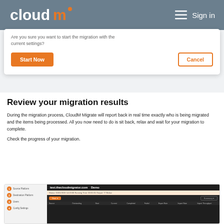cloudm  Sign in
Are you sure you want to start the migration with the current settings?
Start Now   Cancel
Review your migration results
During the migration process, CloudM Migrate will report back in real time exactly who is being migrated and the items being processed. All you now need to do is sit back, relax and wait for your migration to complete.
Check the progress of your migration.
[Figure (screenshot): Screenshot of CloudM migration dashboard showing test.thecloudmigrator.com Demo interface with Start button, Summary dropdown, and a table with columns: Source, Outstanding, Start, Current, Completed, Failed, Export Rate, Import Rate, Import Throughput]